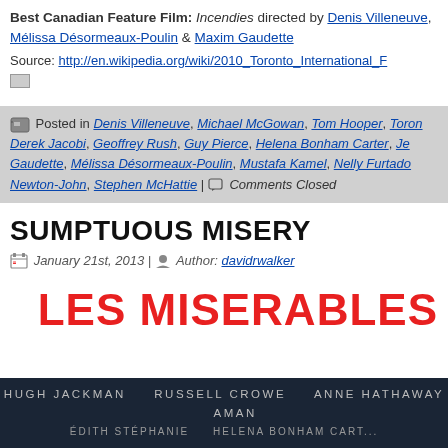Best Canadian Feature Film: Incendies directed by Denis Villeneuve, Mélissa Désormeaux-Poulin & Maxim Gaudette
Source: http://en.wikipedia.org/wiki/2010_Toronto_International_F...
Posted in Denis Villeneuve, Michael McGowan, Tom Hooper, Toron... Derek Jacobi, Geoffrey Rush, Guy Pierce, Helena Bonham Carter, Je... Gaudette, Mélissa Désormeaux-Poulin, Mustafa Kamel, Nelly Furtado... Newton-John, Stephen McHattie | Comments Closed
SUMPTUOUS MISERY
January 21st, 2013 | Author: davidrwalker
LES MISERABLES
[Figure (photo): Movie poster for Les Miserables showing cast credits text on dark background: HUGH JACKMAN, RUSSELL CROWE, ANNE HATHAWAY, AMANDA... and a second line partially visible.]